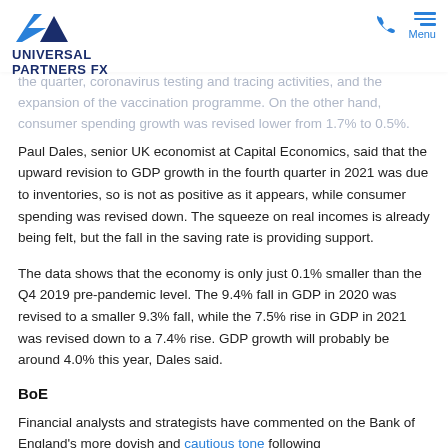Universal Partners FX — logo and navigation header
the quarter, coronavirus testing and tracing activities, and the expansion of the vaccination programme. On the other hand, consumer spending growth was revised lower from 1.7% to 0.5%.
Paul Dales, senior UK economist at Capital Economics, said that the upward revision to GDP growth in the fourth quarter in 2021 was due to inventories, so is not as positive as it appears, while consumer spending was revised down. The squeeze on real incomes is already being felt, but the fall in the saving rate is providing support.
The data shows that the economy is only just 0.1% smaller than the Q4 2019 pre-pandemic level. The 9.4% fall in GDP in 2020 was revised to a smaller 9.3% fall, while the 7.5% rise in GDP in 2021 was revised down to a 7.4% rise. GDP growth will probably be around 4.0% this year, Dales said.
BoE
Financial analysts and strategists have commented on the Bank of England's more dovish and cautious tone following